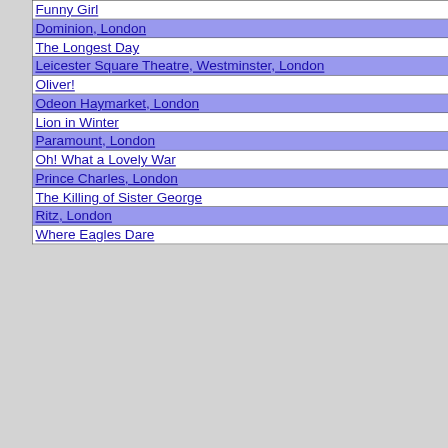| Funny Girl |
| Dominion, London |
| The Longest Day |
| Leicester Square Theatre, Westminster, London |
| Oliver! |
| Odeon Haymarket, London |
| Lion in Winter |
| Paramount, London |
| Oh! What a Lovely War |
| Prince Charles, London |
| The Killing of Sister George |
| Ritz, London |
| Where Eagles Dare |
| Aired on Wednesday, Jun 18 1969 |
| --- |
| UK |
| ITV |
| 2000 | It Takes a Thief | The Galloping Skin Game |
| UK Chart | Wednesday, Jun 18 1969 |
| --- | --- |